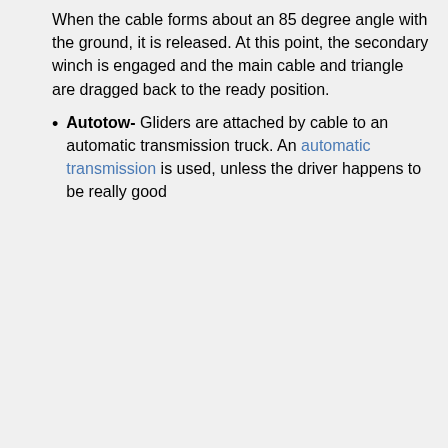When the cable forms about an 85 degree angle with the ground, it is released. At this point, the secondary winch is engaged and the main cable and triangle are dragged back to the ready position.
Autotow- Gliders are attached by cable to an automatic transmission truck. An automatic transmission is used, unless the driver happens to be really good